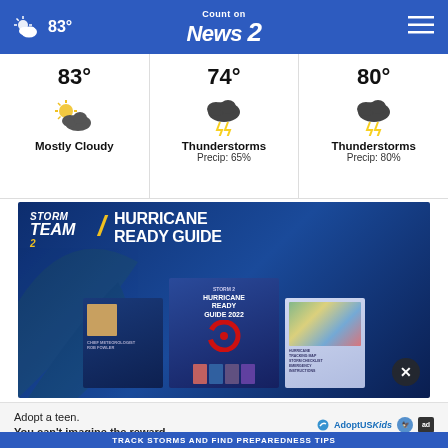83° Count on News 2
83°
Mostly Cloudy
74°
Thunderstorms
Precip: 65%
80°
Thunderstorms
Precip: 80%
[Figure (photo): Storm Team 2 Hurricane Ready Guide advertisement showing news meteorologists and guide booklet]
Adopt a teen. You can't imagine the reward. AdoptUSKids
TRACK STORMS AND FIND PREPAREDNESS TIPS